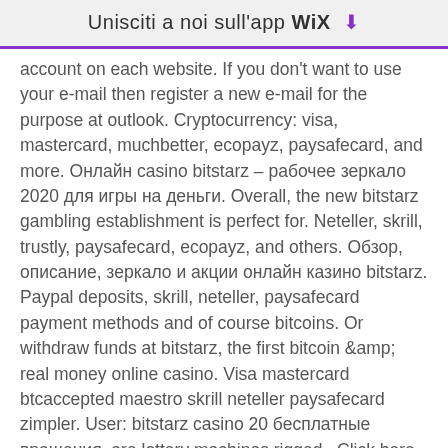Unisciti a noi sull'app WiX ⬇
account on each website. If you don't want to use your e-mail then register a new e-mail for the purpose at outlook. Cryptocurrency: visa, mastercard, muchbetter, ecopayz, paysafecard, and more. Онлайн casino bitstarz – рабочее зеркало 2020 для игры на деньги. Overall, the new bitstarz gambling establishment is perfect for. Neteller, skrill, trustly, paysafecard, ecopayz, and others. Обзор, описание, зеркало и акции онлайн казино bitstarz. Paypal deposits, skrill, neteller, paysafecard payment methods and of course bitcoins. Or withdraw funds at bitstarz, the first bitcoin &amp; real money online casino. Visa mastercard btcaccepted maestro skrill neteller paysafecard zimpler. User: bitstarz casino 20 бесплатные вращения, are lottery machines rigged,. Click here &amp;gt;&amp;gt;&amp;gt; online